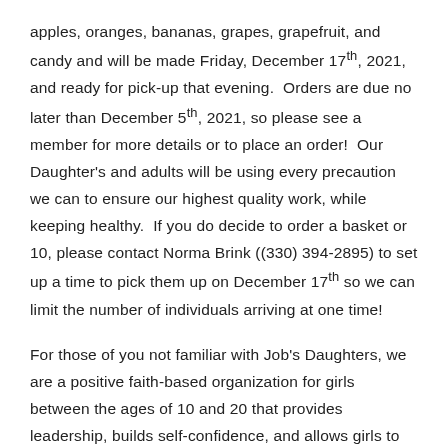apples, oranges, bananas, grapes, grapefruit, and candy and will be made Friday, December 17th, 2021, and ready for pick-up that evening.  Orders are due no later than December 5th, 2021, so please see a member for more details or to place an order!  Our Daughter's and adults will be using every precaution we can to ensure our highest quality work, while keeping healthy.  If you do decide to order a basket or 10, please contact Norma Brink ((330) 394-2895) to set up a time to pick them up on December 17th so we can limit the number of individuals arriving at one time!
For those of you not familiar with Job's Daughters, we are a positive faith-based organization for girls between the ages of 10 and 20 that provides leadership, builds self-confidence, and allows girls to make lifelong friendships.  For the month of